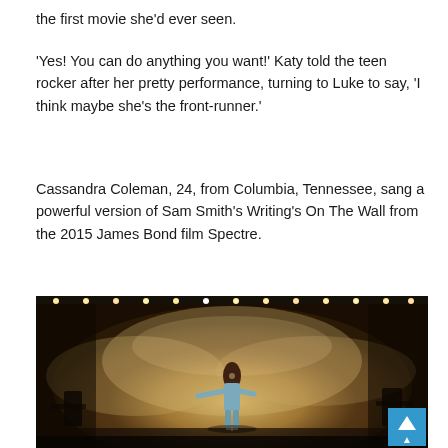the first movie she'd ever seen.
'Yes! You can do anything you want!' Katy told the teen rocker after her pretty performance, turning to Luke to say, 'I think maybe she's the front-runner.'
Cassandra Coleman, 24, from Columbia, Tennessee, sang a powerful version of Sam Smith's Writing's On The Wall from the 2015 James Bond film Spectre.
[Figure (photo): A female performer standing at a microphone on a large stage with dramatic lighting. Multiple spotlights shine down from above against a dark background, with misty atmospheric haze. The performer is wearing a light blue outfit with arms outstretched. Band members visible on either side.]